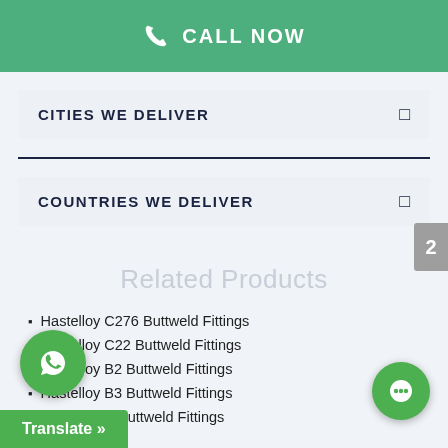CALL NOW
CITIES WE DELIVER
COUNTRIES WE DELIVER
Related Products
Hastelloy C276 Buttweld Fittings
Hastelloy C22 Buttweld Fittings
Hastelloy B2 Buttweld Fittings
Hastelloy B3 Buttweld Fittings
Hastelloy X Buttweld Fittings
orged Fittings